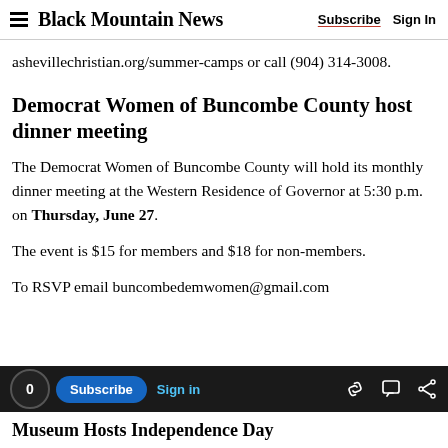Black Mountain News — Subscribe | Sign In
ashevillechristian.org/summer-camps or call (904) 314-3008.
Democrat Women of Buncombe County host dinner meeting
The Democrat Women of Buncombe County will hold its monthly dinner meeting at the Western Residence of Governor at 5:30 p.m. on Thursday, June 27.
The event is $15 for members and $18 for non-members.
To RSVP email buncombedemwomen@gmail.com
Museum Hosts Independence Day